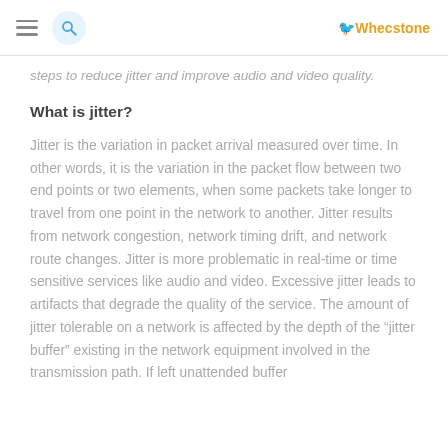Whecstone
steps to reduce jitter and improve audio and video quality.
What is jitter?
Jitter is the variation in packet arrival measured over time. In other words, it is the variation in the packet flow between two end points or two elements, when some packets take longer to travel from one point in the network to another. Jitter results from network congestion, network timing drift, and network route changes. Jitter is more problematic in real-time or time sensitive services like audio and video. Excessive jitter leads to artifacts that degrade the quality of the service. The amount of jitter tolerable on a network is affected by the depth of the “jitter buffer” existing in the network equipment involved in the transmission path. If left unattended buffer